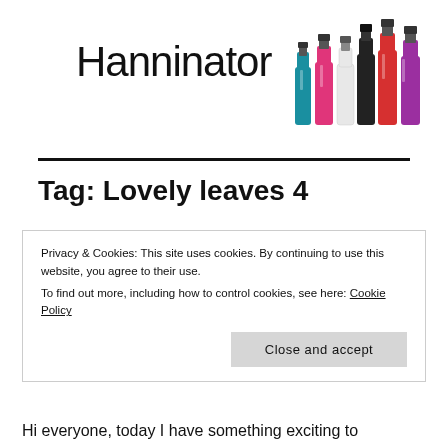Hanninator
[Figure (photo): Several nail polish bottles of various colors arranged together]
Tag: Lovely leaves 4
Privacy & Cookies: This site uses cookies. By continuing to use this website, you agree to their use.
To find out more, including how to control cookies, see here: Cookie Policy
Close and accept
Hi everyone, today I have something exciting to